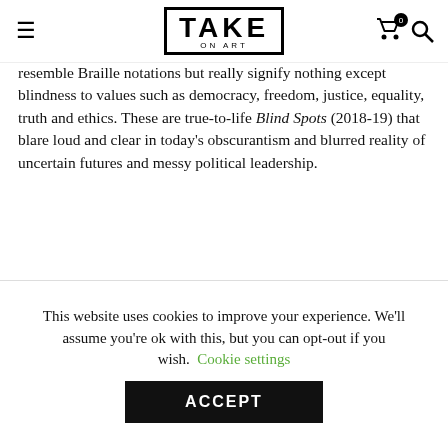TAKE ON ART
resemble Braille notations but really signify nothing except blindness to values such as democracy, freedom, justice, equality, truth and ethics. These are true-to-life Blind Spots (2018-19) that blare loud and clear in today's obscurantism and blurred reality of uncertain futures and messy political leadership.
In view of the world as
[Figure (photo): Dark interior gallery space with ceiling lights and illuminated panels or artworks on the wall, seen from a slightly elevated angle.]
This website uses cookies to improve your experience. We'll assume you're ok with this, but you can opt-out if you wish. Cookie settings ACCEPT